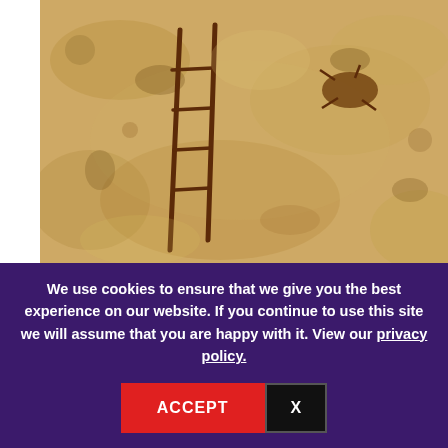[Figure (photo): Cave painting from Arana Cave near Valencia, Spain, showing honey gathering from a hive on a cliff face. Ancient rock art with dark reddish-brown markings on a tan/beige stone surface.]
This cave painting in the Arana Cave near Valencia, Spain, depicts honey gathering from a hive on a cliff face. It is dated at about 8,000 years old, in late Paleolithic times, when humans were still in the hunting and gathering stage, before the farming or the domestication of animals.
Humans have used honey for medicinal purposes for
We use cookies to ensure that we give you the best experience on our website. If you continue to use this site we will assume that you are happy with it. View our privacy policy.